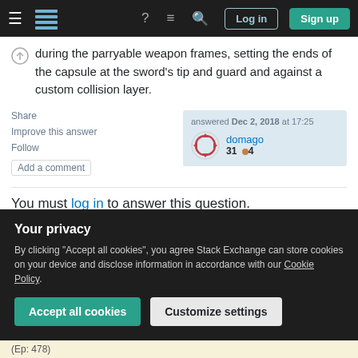Stack Exchange navigation bar with login and sign up buttons
during the parryable weapon frames, setting the ends of the capsule at the sword's tip and guard and against a custom collision layer.
Share
Improve this answer
Follow
Add a comment
answered Dec 2, 2018 at 17:25
domago
31 ●4
You must log in to answer this question.
Your privacy
By clicking "Accept all cookies", you agree Stack Exchange can store cookies on your device and disclose information in accordance with our Cookie Policy.
Accept all cookies  Customize settings